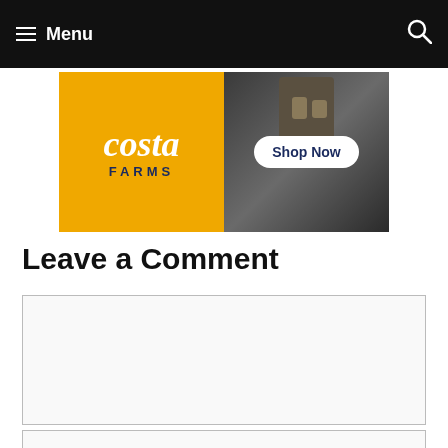Menu
[Figure (illustration): Costa Farms advertisement banner with yellow background showing 'costa FARMS' logo on left and 'Shop Now' button on right with dark background photo]
Leave a Comment
[Comment text area - empty input field]
[Name input field - empty]